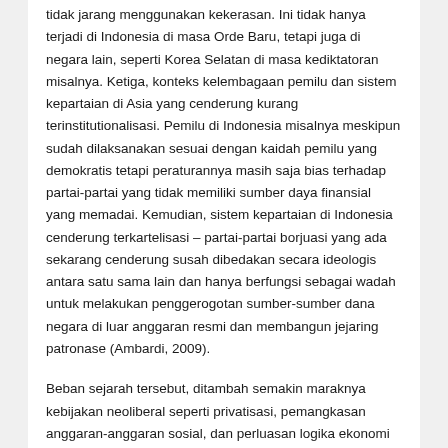tidak jarang menggunakan kekerasan. Ini tidak hanya terjadi di Indonesia di masa Orde Baru, tetapi juga di negara lain, seperti Korea Selatan di masa kediktatoran misalnya. Ketiga, konteks kelembagaan pemilu dan sistem kepartaian di Asia yang cenderung kurang terinstitutionalisasi. Pemilu di Indonesia misalnya meskipun sudah dilaksanakan sesuai dengan kaidah pemilu yang demokratis tetapi peraturannya masih saja bias terhadap partai-partai yang tidak memiliki sumber daya finansial yang memadai. Kemudian, sistem kepartaian di Indonesia cenderung terkartelisasi – partai-partai borjuasi yang ada sekarang cenderung susah dibedakan secara ideologis antara satu sama lain dan hanya berfungsi sebagai wadah untuk melakukan penggerogotan sumber-sumber dana negara di luar anggaran resmi dan membangun jejaring patronase (Ambardi, 2009).
Beban sejarah tersebut, ditambah semakin maraknya kebijakan neoliberal seperti privatisasi, pemangkasan anggaran-anggaran sosial, dan perluasan logika ekonomi pasar di berbagai ranah kehidupan yang semakin melemahkan kekuatan dan solidaritas gerakan rakyat, membuat amanat untuk membangun partai politik alternatif